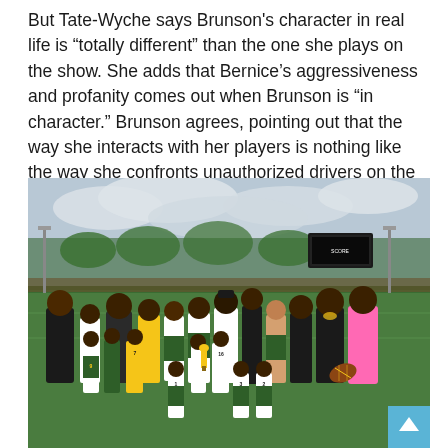But Tate-Wyche says Brunson's character in real life is “totally different” than the one she plays on the show. She adds that Bernice’s aggressiveness and profanity comes out when Brunson is “in character.” Brunson agrees, pointing out that the way she interacts with her players is nothing like the way she confronts unauthorized drivers on the show. “When it comes to the kids, they get my utmost respect,” she says. “They know TV from real life. But they know I don’t take B.S. either.”
[Figure (photo): Group photo of a youth flag football team in green and yellow uniforms, holding a trophy, on a football field. Several coaches and adults stand with the team. Outdoors with a cloudy sky and stadium lights visible in background.]